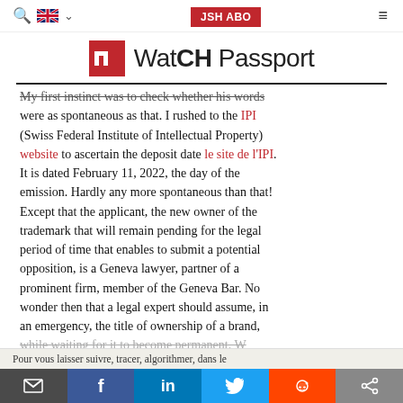JSH ABO
[Figure (logo): WatCH Passport logo with red square icon and text]
My first instinct was to check whether his words were as spontaneous as that. I rushed to the IPI (Swiss Federal Institute of Intellectual Property) website to ascertain the deposit date le site de l'IPI. It is dated February 11, 2022, the day of the emission. Hardly any more spontaneous than that! Except that the applicant, the new owner of the trademark that will remain pending for the legal period of time that enables to submit a potential opposition, is a Geneva lawyer, partner of a prominent firm, member of the Geneva Bar. No wonder then that a legal expert should assume, in an emergency, the title of ownership of a brand, while waiting for it to become permanent. W…
Pour vous laisser suivre, tracer, algorithmer, dans le